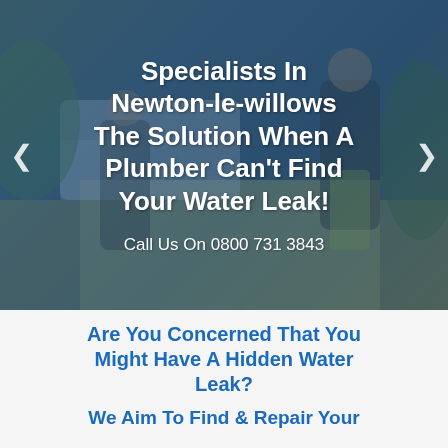[Figure (photo): Hero banner image showing water leak detection specialists with a background photo of technicians working outdoors on a residential street. Dark blue overlay with white bold text overlay and navigation arrows on sides.]
Water Leak Detection Specialists In Newton-le-willows The Solution When A Plumber Can't Find Your Water Leak!
Call Us On 0800 731 3843
Are You Concerned That You Might Have A Hidden Water Leak?
We Aim To Find & Repair Your